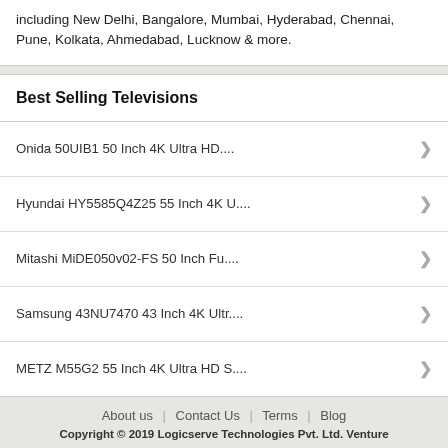including New Delhi, Bangalore, Mumbai, Hyderabad, Chennai, Pune, Kolkata, Ahmedabad, Lucknow & more.
Best Selling Televisions
Onida 50UIB1 50 Inch 4K Ultra HD....
Hyundai HY5585Q4Z25 55 Inch 4K U....
Mitashi MiDE050v02-FS 50 Inch Fu....
Samsung 43NU7470 43 Inch 4K Ultr....
METZ M55G2 55 Inch 4K Ultra HD S....
About us | Contact Us | Terms | Blog
Copyright © 2019 Logicserve Technologies Pvt. Ltd. Venture